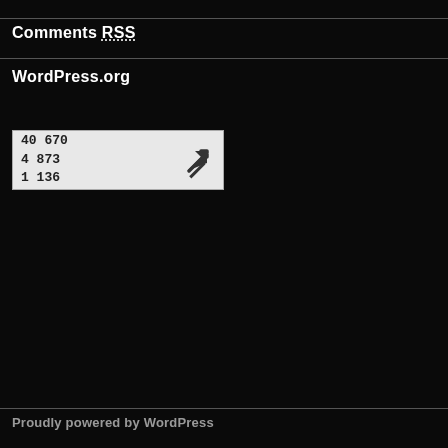Comments RSS
WordPress.org
[Figure (other): Stats widget showing numbers 40 670, 4 873, 1 136 with an arrow icon on a light background]
Proudly powered by WordPress